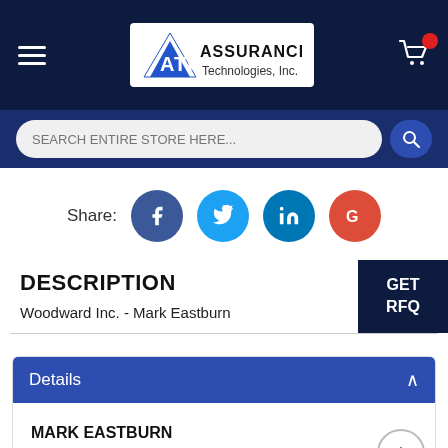[Figure (logo): ATI Assurance Technologies Inc logo on dark navy header bar with hamburger menu and cart icon]
SEARCH ENTIRE STORE HERE...
Share:
DESCRIPTION
Woodward Inc. - Mark Eastburn
GET
RFQ
| Details |
| --- |
| MARK EASTBURN |
| 429482.RFQ |